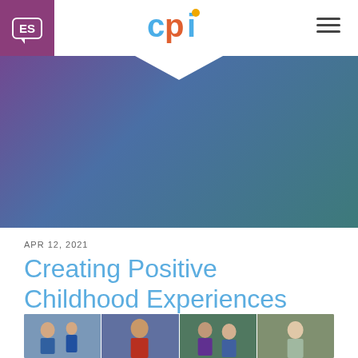ES | CPI logo | hamburger menu
[Figure (photo): Hero gradient background with purple-to-teal gradient and CPI logo centered in white pentagon shape]
APR 12, 2021
Creating Positive Childhood Experiences
[Figure (photo): Photo strip showing children and adults: baby and toddler boy on left, young child in center, woman with another person, and elderly woman on right]